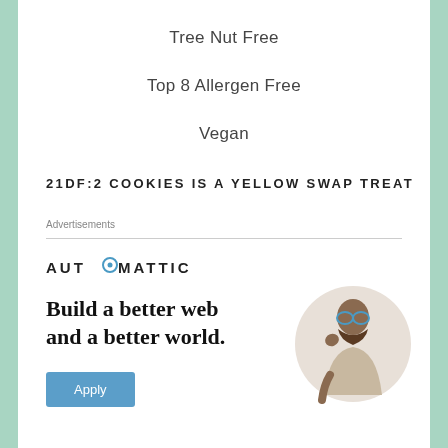Tree Nut Free
Top 8 Allergen Free
Vegan
21DF:2 COOKIES IS A YELLOW SWAP TREAT
Advertisements
[Figure (logo): Automattic logo with circular 'O' icon and uppercase letter-spaced text]
[Figure (infographic): Automattic advertisement: 'Build a better web and a better world.' with an Apply button and a photo of a seated man thinking]